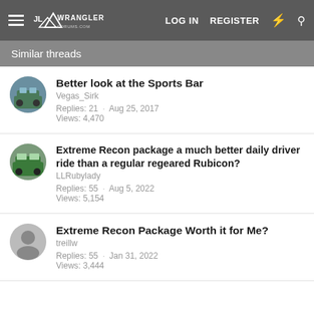Wrangler Forums — LOG IN  REGISTER
Similar threads
Better look at the Sports Bar
Vegas_Sirk
Replies: 21 · Aug 25, 2017
Views: 4,470
Extreme Recon package a much better daily driver ride than a regular regeared Rubicon?
LLRubylady
Replies: 55 · Aug 5, 2022
Views: 5,154
Extreme Recon Package Worth it for Me?
treillw
Replies: 55 · Jan 31, 2022
Views: 3,444